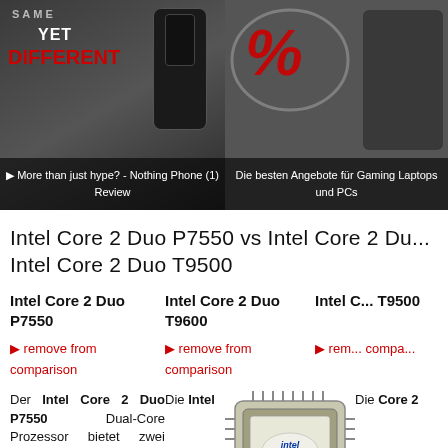[Figure (screenshot): Website banner showing two sections: left side with 'SAME YET DIFFERENT' text and Nothing Phone (1) Review video thumbnail; right side with % symbol and 'Die besten Angebote für Gaming Laptops und PCs']
Intel Core 2 Duo P7550 vs Intel Core 2 Duo T9600 vs Intel Core 2 Duo T9500
Intel Core 2 Duo P7550
Intel Core 2 Duo T9600
Intel Core 2 Duo T9500
▶ remove from comparison
▶ remove from comparison
▶ remove from comparison
Der Intel Core 2 Duo P7550 Dual-Core Prozessor bietet zwei Prozessorkerne mit einem gemeinsamen
Die Intel
[Figure (photo): Intel Core 2 Duo processor chip image]
Die Core 2
Core 2 Duo T9600 T9500